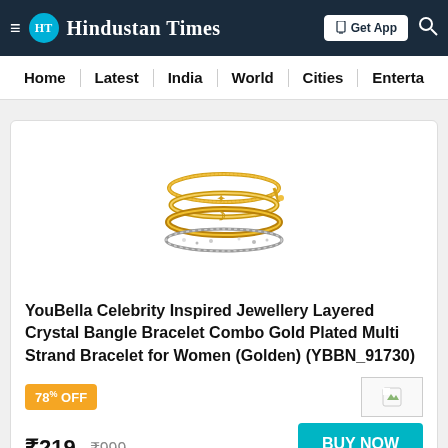HT Hindustan Times | Get App
Home | Latest | India | World | Cities | Enterta
[Figure (photo): Gold-plated layered crystal bangle bracelet combo with moon and star charms]
YouBella Celebrity Inspired Jewellery Layered Crystal Bangle Bracelet Combo Gold Plated Multi Strand Bracelet for Women (Golden) (YBBN_91730)
78% OFF  ₹219  ₹999  BUY NOW
Rajasthan Gems Dangle Earrings